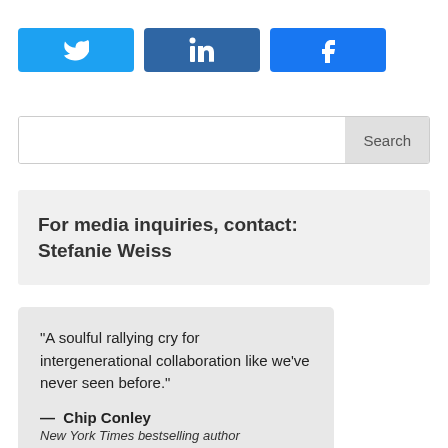[Figure (other): Three social share buttons: Twitter (light blue), LinkedIn (dark blue), Facebook (blue)]
[Figure (other): Search bar with text input field and Search button]
For media inquiries, contact: Stefanie Weiss
“A soulful rallying cry for intergenerational collaboration like we’ve never seen before.”
— Chip Conley
New York Times bestselling author